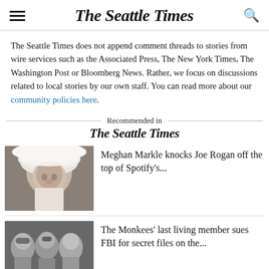The Seattle Times
The Seattle Times does not append comment threads to stories from wire services such as the Associated Press, The New York Times, The Washington Post or Bloomberg News. Rather, we focus on discussions related to local stories by our own staff. You can read more about our community policies here.
Recommended in The Seattle Times
[Figure (photo): Portrait photo of Meghan Markle wearing a white hat]
Meghan Markle knocks Joe Rogan off the top of Spotify's...
[Figure (photo): Black and white photo of The Monkees band members]
The Monkees' last living member sues FBI for secret files on the...